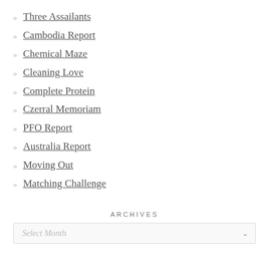Three Assailants
Cambodia Report
Chemical Maze
Cleaning Love
Complete Protein
Czerral Memoriam
PFO Report
Australia Report
Moving Out
Matching Challenge
ARCHIVES